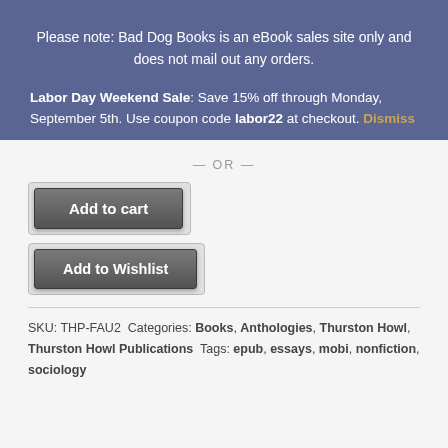Please note: Bad Dog Books is an eBook sales site only and does not mail out any orders.
Labor Day Weekend Sale: Save 15% off through Monday, September 5th. Use coupon code labor22 at checkout. Dismiss
— OR —
Add to cart
Add to Wishlist
SKU: THP-FAU2 Categories: Books, Anthologies, Thurston Howl, Thurston Howl Publications Tags: epub, essays, mobi, nonfiction, sociology